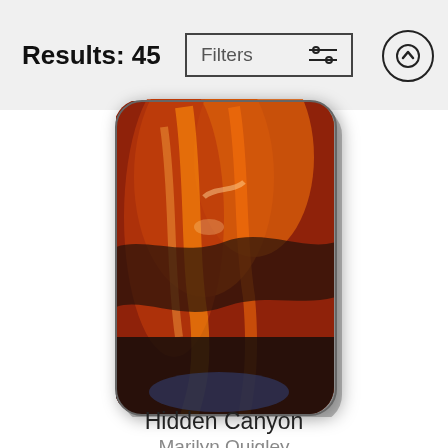Results: 45
Filters
[Figure (screenshot): Phone case product image showing Hidden Canyon artwork with orange and black canyon imagery on a rounded rectangle phone case]
Hidden Canyon
Marilyn Quigley
$47
[Figure (screenshot): Partially visible product image showing green foliage and dark earthy tones artwork on a rounded rectangle tablet/mouse pad]